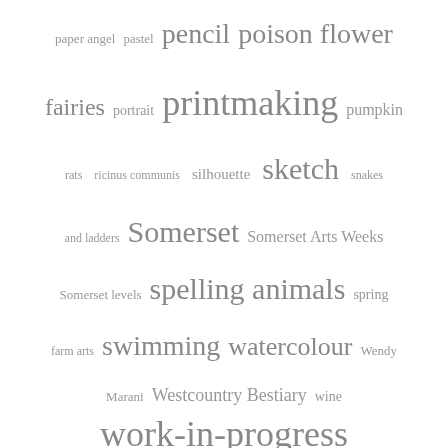[Figure (infographic): A tag cloud / word cloud displaying various terms in different font sizes, all in grey on white background. Terms include: paper angel, pastel, pencil, poison flower, fairies, portrait, printmaking, pumpkin, rats, ricinus communis, silhouette, sketch, snakes, and ladders, Somerset, Somerset Arts Weeks, Somerset levels, spelling animals, spring, farm arts, swimming, watercolour, Wendy, Marani, Westcountry Bestiary, wine, work-in-progress. Larger text indicates higher frequency or importance.]